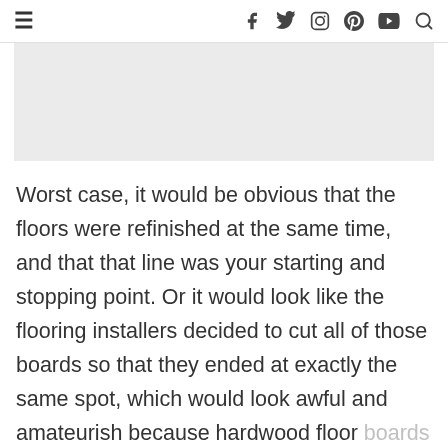≡  f  twitter  instagram  pinterest  youtube  search
[Figure (other): Gray advertisement placeholder banner]
Worst case, it would be obvious that the floors were refinished at the same time, and that that line was your starting and stopping point. Or it would look like the flooring installers decided to cut all of those boards so that they ended at exactly the same spot, which would look awful and amateurish because hardwood floor boards are supposed to be staggered.